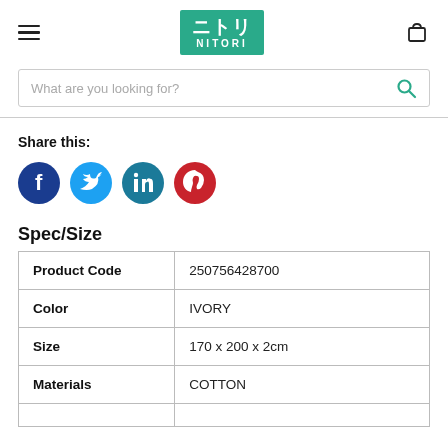[Figure (logo): Nitori logo — teal/green square with Japanese katakana ニトリ and NITORI in white]
What are you looking for?
Share this:
[Figure (infographic): Social media icons: Facebook (dark blue circle with f), Twitter (light blue circle with bird), LinkedIn (teal circle with in), Pinterest (red circle with P)]
Spec/Size
|  |  |
| --- | --- |
| Product Code | 250756428700 |
| Color | IVORY |
| Size | 170 x 200 x 2cm |
| Materials | COTTON |